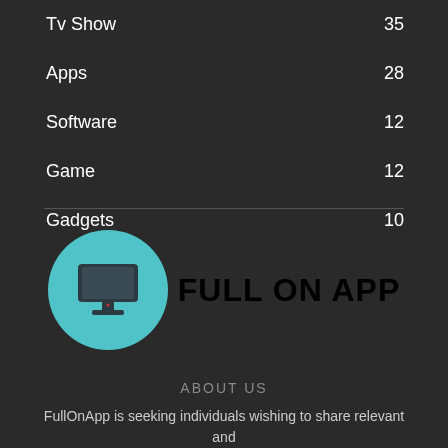Tv Show  35
Apps  28
Software  12
Game  12
Gadgets  10
[Figure (logo): Full On App logo: teal circle with a monitor/TV icon and text FULL ON APP in bold black]
ABOUT US
FullOnApp is seeking individuals wishing to share relevant and